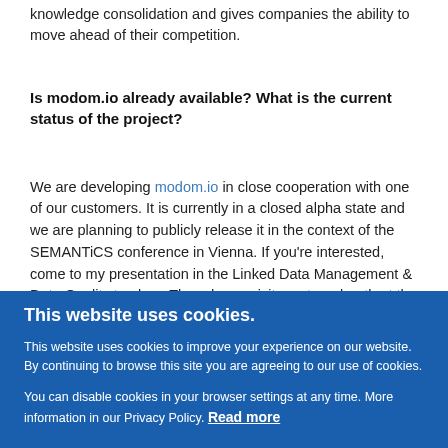knowledge consolidation and gives companies the ability to move ahead of their competition.
Is modom.io already available? What is the current status of the project?
We are developing modom.io in close cooperation with one of our customers. It is currently in a closed alpha state and we are planning to publicly release it in the context of the SEMANTiCS conference in Vienna. If you're interested, come to my presentation in the Linked Data Management & Data Quality track on Thursday or visit us at our booth at the conference venue.
One of your further projects involves a partnership with Schneider Electric, a large publicly traded energy company. What can you tell
This website uses cookies.
This website uses cookies to improve your experience on our website. By continuing to browse this site you are agreeing to our use of cookies.
You can disable cookies in your browser settings at any time. More information in our Privacy Policy. Read more